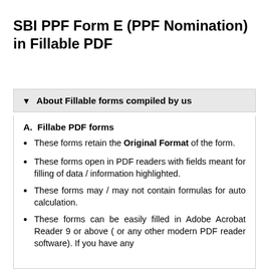SBI PPF Form E (PPF Nomination) in Fillable PDF
▼  About Fillable forms compiled by us
A.  Fillabe PDF forms
These forms retain the Original Format of the form.
These forms open in PDF readers with fields meant for filling of data / information highlighted.
These forms may / may not contain formulas for auto calculation.
These forms can be easily filled in Adobe Acrobat Reader 9 or above ( or any other modern PDF reader software). If you have any